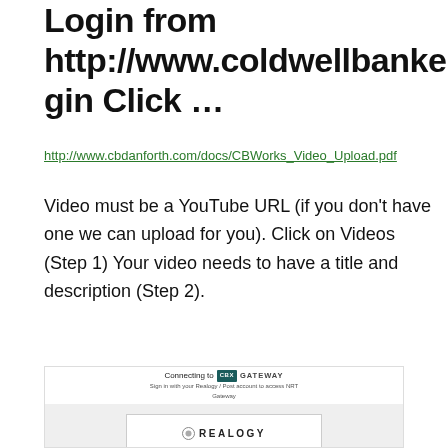Login from http://www.coldwellbanker.com/login Click …
http://www.cbdanforth.com/docs/CBWorks_Video_Upload.pdf
Video must be a YouTube URL (if you don't have one we can upload for you). Click on Videos (Step 1) Your video needs to have a title and description (Step 2).
[Figure (screenshot): Screenshot of a Realogy/CBWorks login page with 'Connecting to CBX GATEWAY' header, Realogy logo, user icon, Sign In label, Username and Password fields.]